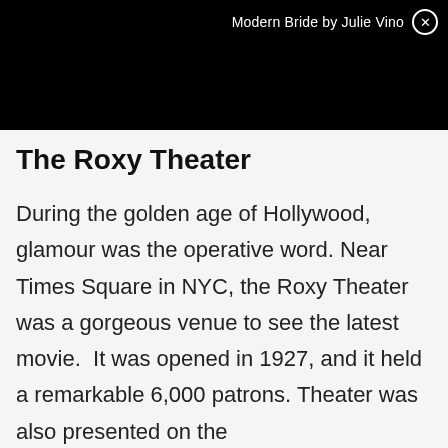Modern Bride by Julie Vino ⊗
The Roxy Theater
During the golden age of Hollywood, glamour was the operative word. Near Times Square in NYC, the Roxy Theater was a gorgeous venue to see the latest movie. It was opened in 1927, and it held a remarkable 6,000 patrons. Theater was also presented on the